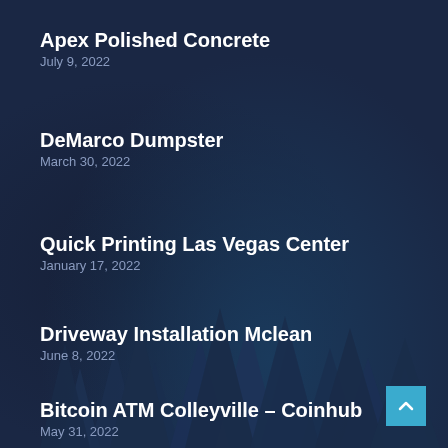Apex Polished Concrete
July 9, 2022
DeMarco Dumpster
March 30, 2022
Quick Printing Las Vegas Center
January 17, 2022
Driveway Installation Mclean
June 8, 2022
Bitcoin ATM Colleyville – Coinhub
May 31, 2022